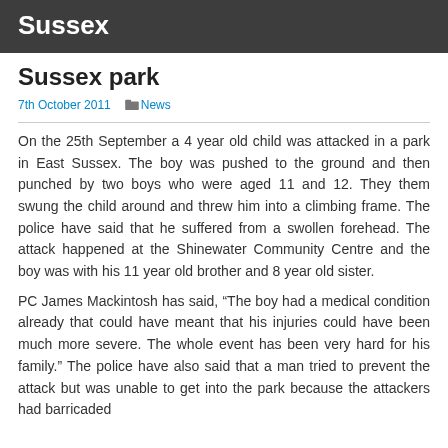Sussex
Sussex park
7th October 2011   News
On the 25th September a 4 year old child was attacked in a park in East Sussex. The boy was pushed to the ground and then punched by two boys who were aged 11 and 12. They them swung the child around and threw him into a climbing frame. The police have said that he suffered from a swollen forehead. The attack happened at the Shinewater Community Centre and the boy was with his 11 year old brother and 8 year old sister.
PC James Mackintosh has said, “The boy had a medical condition already that could have meant that his injuries could have been much more severe. The whole event has been very hard for his family.” The police have also said that a man tried to prevent the attack but was unable to get into the park because the attackers had barricaded